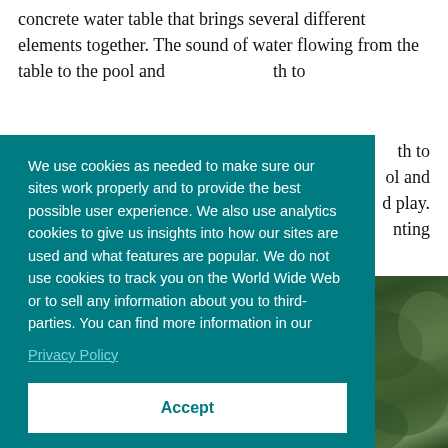concrete water table that brings several different elements together. The sound of water flowing from the table to the ... th to ... ol and ... d play. ... nting
[Figure (photo): Partial view of outdoor garden or natural foliage, visible behind cookie consent overlay at bottom right.]
We use cookies as needed to make sure our sites work properly and to provide the best possible user experience. We also use analytics cookies to give us insights into how our sites are used and what features are popular. We do not use cookies to track you on the World Wide Web or to sell any information about you to third-parties. You can find more information in our Privacy Policy
Accept